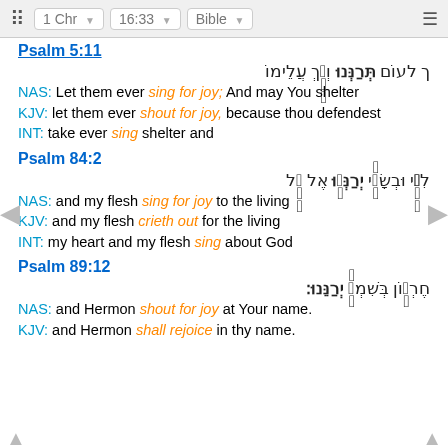1 Chr  16:33  Bible
Psalm 5:11
HEB: רך לעום תרננו ותרך עלימו
NAS: Let them ever sing for joy; And may You shelter
KJV: let them ever shout for joy, because thou defendest
INT: take ever sing shelter and
Psalm 84:2
HEB: לבי ובשרי ירננו אל אל
NAS: and my flesh sing for joy to the living
KJV: and my flesh crieth out for the living
INT: my heart and my flesh sing about God
Psalm 89:12
HEB: חרמון בשמך ירננו
NAS: and Hermon shout for joy at Your name.
KJV: and Hermon shall rejoice in thy name.